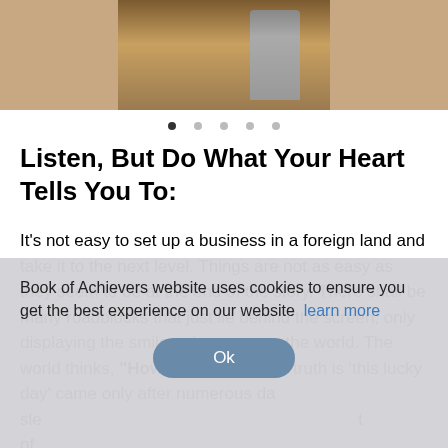[Figure (photo): Partial photo of a person standing in front of a chalkboard menu sign, cropped at top of page]
Listen, But Do What Your Heart Tells You To:
It's not easy to set up a business in a foreign land and take it to the next level. Things are not as easy as they seem to be at the end of the story. There shall be many roadblocks that just lie behind the screen, only displaying the smiles of success to the world. The world thinks, "How lucky!". But the truth is 'this lucky day' came only after numerous da... sle... t of... "Sometimes take the risk. It's like getting into the water and then learn to swim. People think
Book of Achievers website uses cookies to ensure you get the best experience on our website  learn more
Ok